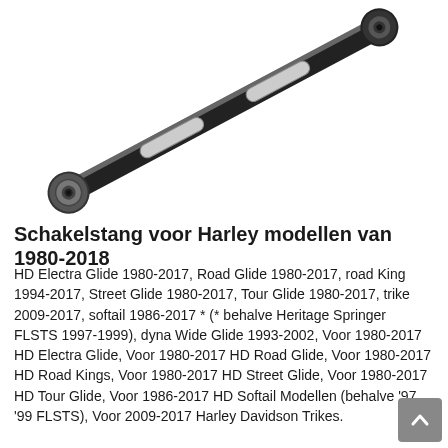[Figure (photo): A black and chrome motorcycle gear shift linkage rod (schakelstang) with ball joints at each end and two oblong cutouts along the body, shown diagonally on a white background.]
Schakelstang voor Harley modellen van 1980-2018
HD Electra Glide 1980-2017, Road Glide 1980-2017, road King 1994-2017, Street Glide 1980-2017, Tour Glide 1980-2017, trike 2009-2017, softail 1986-2017 * (* behalve Heritage Springer FLSTS 1997-1999), dyna Wide Glide 1993-2002, Voor 1980-2017 HD Electra Glide, Voor 1980-2017 HD Road Glide, Voor 1980-2017 HD Road Kings, Voor 1980-2017 HD Street Glide, Voor 1980-2017 HD Tour Glide, Voor 1986-2017 HD Softail Modellen (behalve '97 '99 FLSTS), Voor 2009-2017 Harley Davidson Trikes.